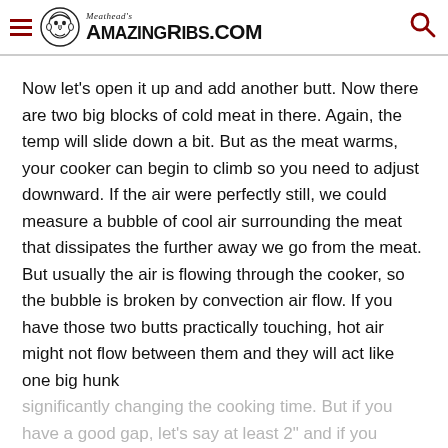Meathead's AmazingRibs.com
Now let's open it up and add another butt. Now there are two big blocks of cold meat in there. Again, the temp will slide down a bit. But as the meat warms, your cooker can begin to climb so you need to adjust downward. If the air were perfectly still, we could measure a bubble of cool air surrounding the meat that dissipates the further away we go from the meat. But usually the air is flowing through the cooker, so the bubble is broken by convection air flow. If you have those two butts practically touching, hot air might not flow between them and they will act like one big hunk
significantly changing the cooking time. But if you have a good gap, let's say at least 2" and if you adjust the